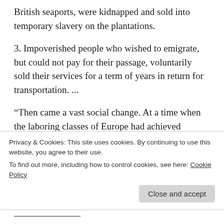British seaports, were kidnapped and sold into temporary slavery on the plantations.
3. Impoverished people who wished to emigrate, but could not pay for their passage, voluntarily sold their services for a term of years in return for transportation. ...
“Then came a vast social change. At a time when the laboring classes of Europe had achieved emancipation from serfdom, and feudalism was overthrown, African slavery in
Privacy & Cookies: This site uses cookies. By continuing to use this website, you agree to their use.
To find out more, including how to control cookies, see here: Cookie Policy
Close and accept